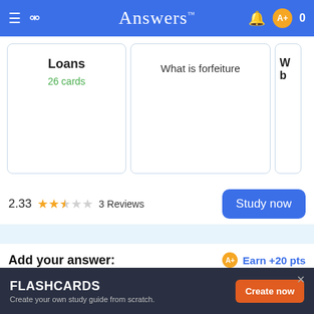Answers
Loans
26 cards
What is forfeiture
W b
2.33 ★★☆☆☆ 3 Reviews
Study now
Add your answer:
Earn +20 pts
Q: If the account was sent to a collection agency who is demanding full payment what can you do to get it back where you can make payments?
Write your answer...
FLASHCARDS
Create your own study guide from scratch.
Create now